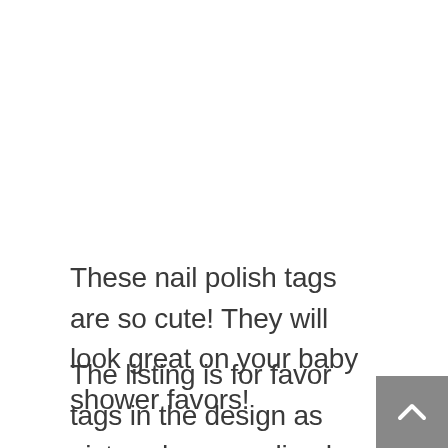These nail polish tags are so cute! They will look great on your baby shower favors!
The listing is for favor tags in the design as pictured personalized with your name and event. The tags come in a variety of accent